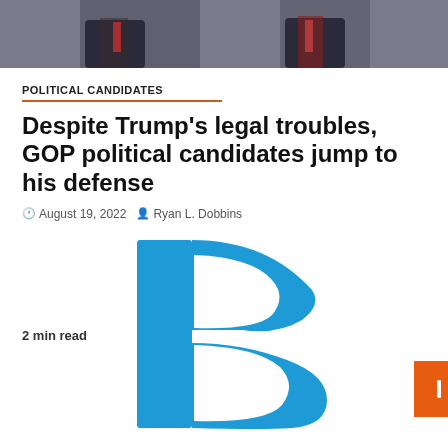[Figure (photo): Cropped photo of people in suits and ties, upper portion visible at top of page]
POLITICAL CANDIDATES
Despite Trump's legal troubles, GOP political candidates jump to his defense
August 19, 2022   Ryan L. Dobbins
[Figure (logo): Large blue letter 'B' logo (Breitbart or similar news outlet) with 2 min read label to the left and an orange button to the right]
POLITICAL PARTY